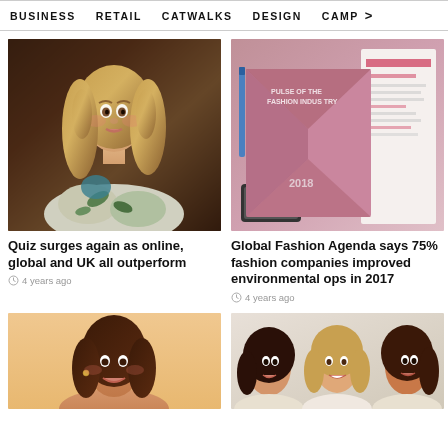BUSINESS   RETAIL   CATWALKS   DESIGN   CAMP >
[Figure (photo): Young woman with long blonde hair wearing a floral crop top]
Quiz surges again as online, global and UK all outperform
4 years ago
[Figure (photo): Pink fashion industry report book/binder with text 'PULSE OF THE FASHION INDUSTRY 2018']
Global Fashion Agenda says 75% fashion companies improved environmental ops in 2017
4 years ago
[Figure (photo): Young brunette woman smiling against peach background]
[Figure (photo): Three young women posing together, wearing light-colored outfits]